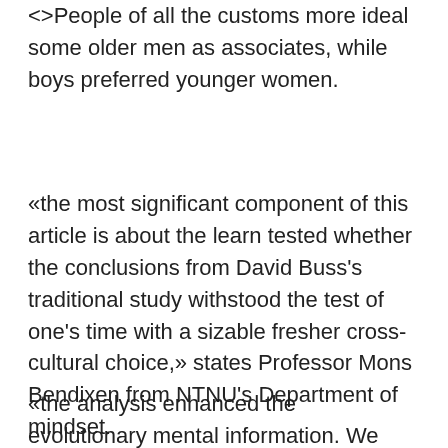<>People of all the customs more ideal some older men as associates, while boys preferred younger women.
«the most significant component of this article is about the learn tested whether the conclusions from David Buss's traditional study withstood the test of one's time with a sizable fresher cross-cultural choice,» states Professor Mons Bendixen from NTNU's Department of mindset.
«the analysis enhanced the evolutionary mental information. We have additionally obtained a better understanding of the